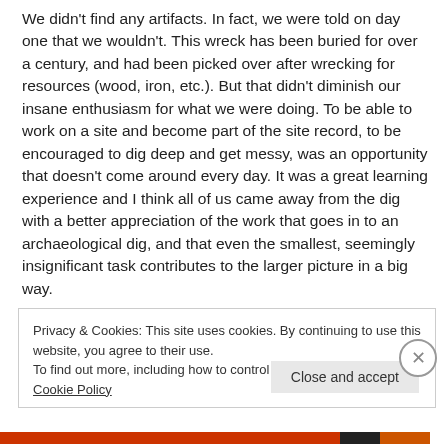We didn't find any artifacts. In fact, we were told on day one that we wouldn't. This wreck has been buried for over a century, and had been picked over after wrecking for resources (wood, iron, etc.). But that didn't diminish our insane enthusiasm for what we were doing. To be able to work on a site and become part of the site record, to be encouraged to dig deep and get messy, was an opportunity that doesn't come around every day. It was a great learning experience and I think all of us came away from the dig with a better appreciation of the work that goes in to an archaeological dig, and that even the smallest, seemingly insignificant task contributes to the larger picture in a big way.
Privacy & Cookies: This site uses cookies. By continuing to use this website, you agree to their use.
To find out more, including how to control cookies, see here: Cookie Policy
Close and accept